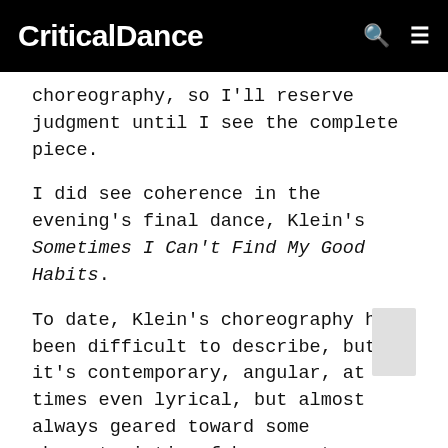CriticalDance
choreography, so I'll reserve judgment until I see the complete piece.
I did see coherence in the evening's final dance, Klein's Sometimes I Can't Find My Good Habits.
To date, Klein's choreography has been difficult to describe, but it's contemporary, angular, at times even lyrical, but almost always geared toward some characteristic of human nature or human relationships that she wanted to explore. Even when I found the dances, overall, less than successful, her motivation was always apparent. And with few exceptions, her choreography is serious – maybe overly so – with movement and sound accompaniment that emphasizes the angst-driven everyday